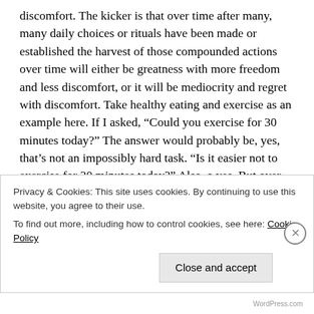discomfort. The kicker is that over time after many, many daily choices or rituals have been made or established the harvest of those compounded actions over time will either be greatness with more freedom and less discomfort, or it will be mediocrity and regret with discomfort. Take healthy eating and exercise as an example here. If I asked, “Could you exercise for 30 minutes today?” The answer would probably be, yes, that’s not an impossibly hard task. “Is it easier not to exercise for 30 minutes today?” Also, a yes. But over time, a daily ritual of exercise will create significant changes in a person’s health and happiness both mentally and
Privacy & Cookies: This site uses cookies. By continuing to use this website, you agree to their use.
To find out more, including how to control cookies, see here: Cookie Policy
Close and accept